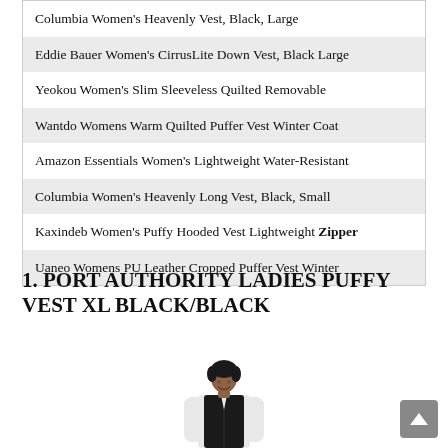Columbia Women's Heavenly Vest, Black, Large
Eddie Bauer Women's CirrusLite Down Vest, Black Large
Yeokou Women's Slim Sleeveless Quilted Removable
Wantdo Womens Warm Quilted Puffer Vest Winter Coat
Amazon Essentials Women's Lightweight Water-Resistant
Columbia Women's Heavenly Long Vest, Black, Small
Kaxindeb Women's Puffy Hooded Vest Lightweight Zipper
Uaneo Womens PU Leather Cropped Puffer Vest Winter
1. PORT AUTHORITY LADIES PUFFY VEST XL BLACK/BLACK
[Figure (photo): Woman wearing a black puffy vest over a white long-sleeve shirt, smiling, with short dark hair.]